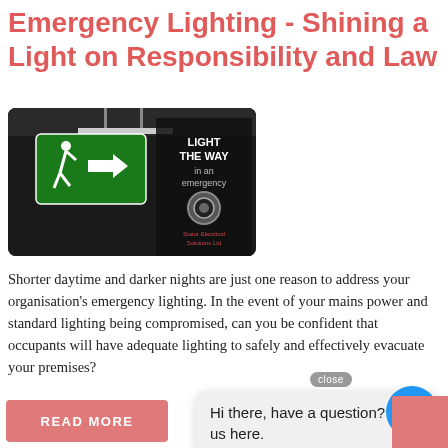Emergency Lighting - Shining a Light on Responsibility and Law
[Figure (photo): Green emergency exit sign with running person and arrow, hanging from ceiling in dark setting. Text overlay reads 'LIGHT THE WAY in an emergency' with Stator Electrical Solutions Ltd logo.]
Shorter daytime and darker nights are just one reason to address your organisation's emergency lighting. In the event of your mains power and standard lighting being compromised, can you be confident that occupants will have adequate lighting to safely and effectively evacuate your premises?
[Figure (other): Chat widget bubble showing 'Hi there, have a question? Text us here.' with a close button and blue chat icon button.]
READ MORE